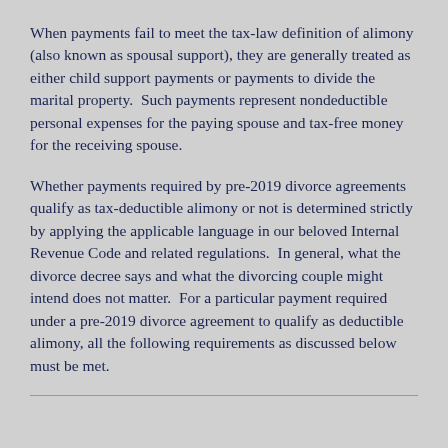When payments fail to meet the tax-law definition of alimony (also known as spousal support), they are generally treated as either child support payments or payments to divide the marital property.  Such payments represent nondeductible personal expenses for the paying spouse and tax-free money for the receiving spouse.
Whether payments required by pre-2019 divorce agreements qualify as tax-deductible alimony or not is determined strictly by applying the applicable language in our beloved Internal Revenue Code and related regulations.  In general, what the divorce decree says and what the divorcing couple might intend does not matter.  For a particular payment required under a pre-2019 divorce agreement to qualify as deductible alimony, all the following requirements as discussed below must be met.